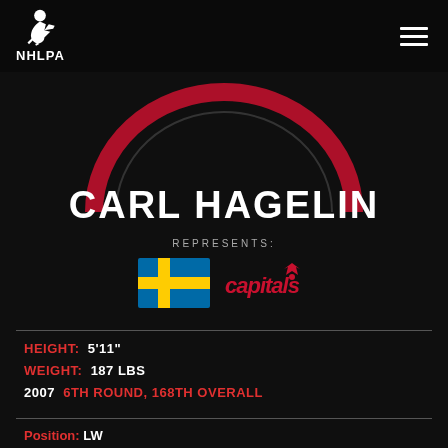NHLPA
CARL HAGELIN
REPRESENTS:
[Figure (illustration): Sweden flag and Washington Capitals logo]
HEIGHT: 5'11"
WEIGHT: 187 LBS
2007 6TH ROUND, 168TH OVERALL
Position: LW
Born: August 23, 1988